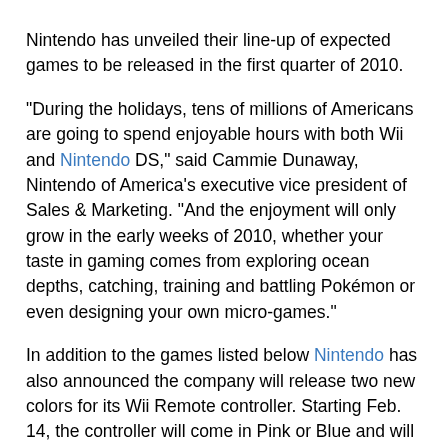Nintendo has unveiled their line-up of expected games to be released in the first quarter of 2010.
"During the holidays, tens of millions of Americans are going to spend enjoyable hours with both Wii and Nintendo DS," said Cammie Dunaway, Nintendo of America's executive vice president of Sales & Marketing. "And the enjoyment will only grow in the early weeks of 2010, whether your taste in gaming comes from exploring ocean depths, catching, training and battling Pokémon or even designing your own micro-games."
In addition to the games listed below Nintendo has also announced the company will release two new colors for its Wii Remote controller. Starting Feb. 14, the controller will come in Pink or Blue and will be bundled with a Wii MotionPlus accessory.
Below is a partial list of upcoming packaged and downloadable games for the Wii, Nintendo DS and Nintendo